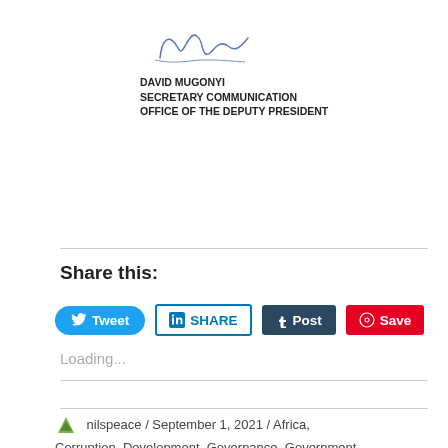[Figure (illustration): Handwritten signature above the name David Mugonyi]
DAVID MUGONYI
SECRETARY COMMUNICATION
OFFICE OF THE DEPUTY PRESIDENT
Share this:
[Figure (other): Social media share buttons: Tweet (Twitter), SHARE (LinkedIn), Post (Tumblr), Save (Pinterest)]
Loading...
nilspeace / September 1, 2021 / Africa, Corruption, Development, Governance, Government,